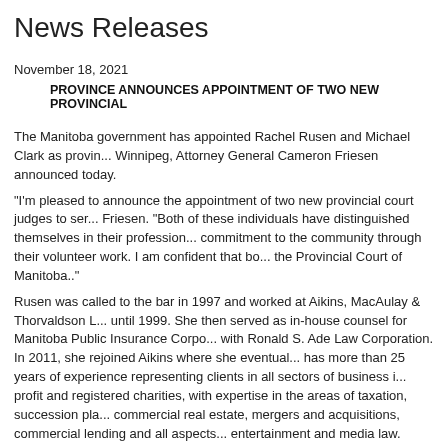News Releases
November 18, 2021
PROVINCE ANNOUNCES APPOINTMENT OF TWO NEW PROVINCIAL
The Manitoba government has appointed Rachel Rusen and Michael Clark as provin... Winnipeg, Attorney General Cameron Friesen announced today.
“I’m pleased to announce the appointment of two new provincial court judges to ser... Friesen. “Both of these individuals have distinguished themselves in their profession... commitment to the community through their volunteer work. I am confident that bo... the Provincial Court of Manitoba..”
Rusen was called to the bar in 1997 and worked at Aikins, MacAulay & Thorvaldson L... until 1999. She then served as in-house counsel for Manitoba Public Insurance Corpo... with Ronald S. Ade Law Corporation. In 2011, she rejoined Aikins where she eventual... has more than 25 years of experience representing clients in all sectors of business i... profit and registered charities, with expertise in the areas of taxation, succession pla... commercial real estate, mergers and acquisitions, commercial lending and all aspects... entertainment and media law.
In 2019, Rusen left private practice to take on a new role as chief executive officer of... Recording Development Corporation, and the Manitoba Film Commissioner. Rusen’s...